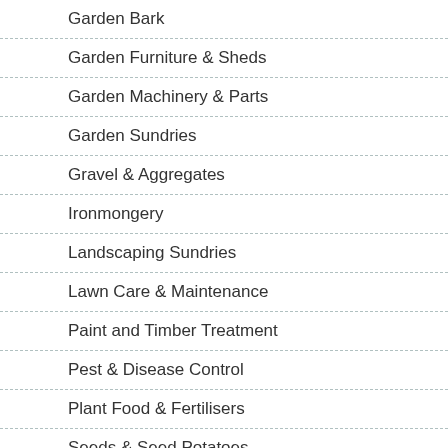Garden Bark
Garden Furniture & Sheds
Garden Machinery & Parts
Garden Sundries
Gravel & Aggregates
Ironmongery
Landscaping Sundries
Lawn Care & Maintenance
Paint and Timber Treatment
Pest & Disease Control
Plant Food & Fertilisers
Seeds & Seed Potatoes
Tools
Topsoil & Compost
Turf
Weed Control